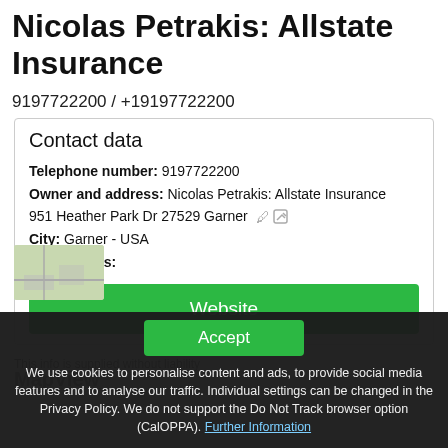Nicolas Petrakis: Allstate Insurance
9197722200 / +19197722200
Contact data
Telephone number: 9197722200
Owner and address: Nicolas Petrakis: Allstate Insurance
951 Heather Park Dr 27529 Garner
City: Garner - USA
more details:
[Figure (other): Green Website button]
This info is supplied without liability
[Figure (other): Green Accept button for cookie consent overlay]
We use cookies to personalise content and ads, to provide social media features and to analyse our traffic. Individual settings can be changed in the Privacy Policy. We do not support the Do Not Track browser option (CalOPPA). Further Information
MapView
[Figure (map): Small map thumbnail showing location]